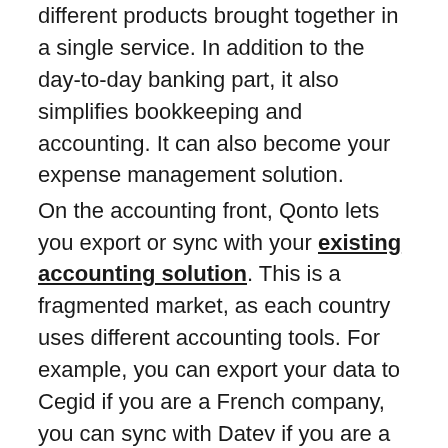different products brought together in a single service. In addition to the day-to-day banking part, it also simplifies bookkeeping and accounting. It can also become your expense management solution. On the accounting front, Qonto lets you export or sync with your existing accounting solution. This is a fragmented market, as each country uses different accounting tools. For example, you can export your data to Cegid if you are a French company, you can sync with Datev if you are a German company, etc. Qonto users can also import receipts directly into their Qonto account. As for expense management, Qonto allows you to distribute physical, virtual or unique cards to employees. Administrators can set up different spending limits, an approval workflow, and all the usual things you get from a spend management solution. It may not be as complete as a dedicated product such as Spending, but it may be